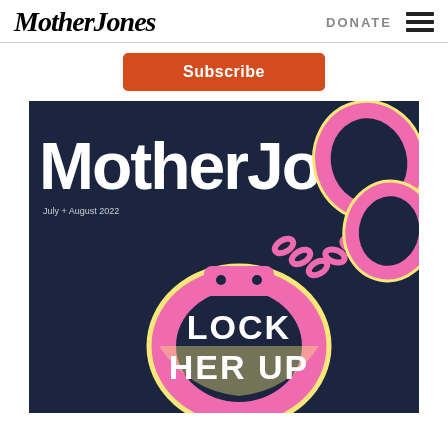Mother Jones | DONATE
Subscribe
[Figure (illustration): Mother Jones magazine cover for July + August 2022 issue, dark navy background with large white 'Mother Jones' masthead text and a large pink handcuffs illustration with the text 'LOCK HER UP' in bold white letters inside the handcuff loop.]